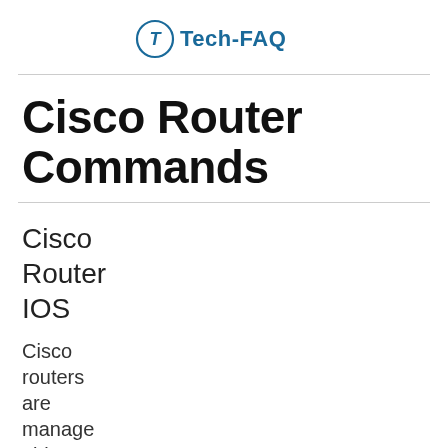Tech-FAQ
Cisco Router Commands
Cisco Router IOS
Cisco routers are manage able